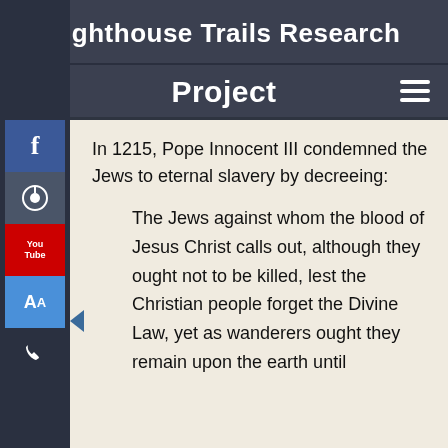Lighthouse Trails Research
Project
In 1215, Pope Innocent III condemned the Jews to eternal slavery by decreeing:
The Jews against whom the blood of Jesus Christ calls out, although they ought not to be killed, lest the Christian people forget the Divine Law, yet as wanderers ought they remain upon the earth until